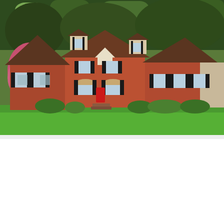[Figure (photo): Exterior photo of a two-story brick colonial house with brown roof, black shutters, red front door, dormers, attached wing, manicured green lawn, trees in background, flowering shrubs on left side]
[Figure (photo): Second photo partially visible showing another property exterior with blue sky, clouds, bare trees, and a large house/mansion in background]
tmeltonrealestate.com uses cookies to ensure the best expe
Learn More
Privacy · Terms